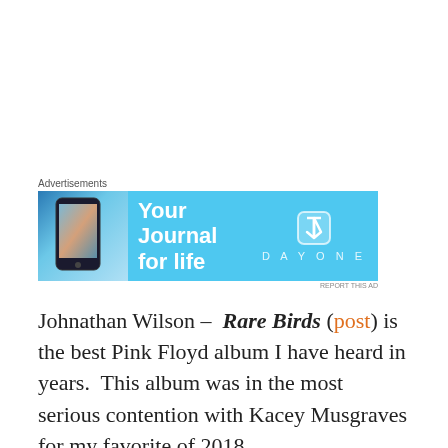[Figure (other): Advertisement banner for DayOne journal app with sky-blue background, phone graphic on left, text 'Your Journal for life' in center, DayOne logo/icon on right]
Johnathan Wilson – Rare Birds (post) is the best Pink Floyd album I have heard in years.  This album was in the most serious contention with Kacey Musgraves for my favorite of 2018.
Bad Request